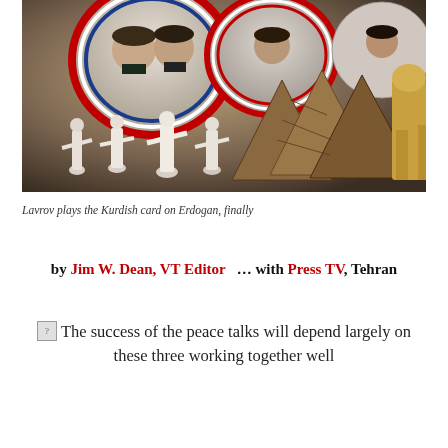[Figure (photo): Souvenir market stall showing decorative plates with portraits of political figures (Putin, Assad) with Russian and Syrian flag designs, alongside whirling dervish figurines and carved wooden triangular artifacts]
Lavrov plays the Kurdish card on Erdogan, finally
by Jim W. Dean, VT Editor   … with Press TV, Tehran
The success of the peace talks will depend largely on these three working together well